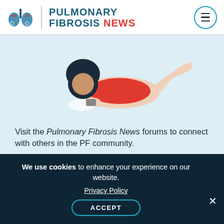PULMONARY FIBROSIS NEWS
[Figure (illustration): Cartoon illustration of a person with an afro lying on their stomach, wearing a red shirt, looking at a phone or book, with legs raised behind them.]
Visit the Pulmonary Fibrosis News forums to connect with others in the PF community.
View Forums
Recent Posts
We use cookies to enhance your experience on our website.
Privacy Policy
ACCEPT